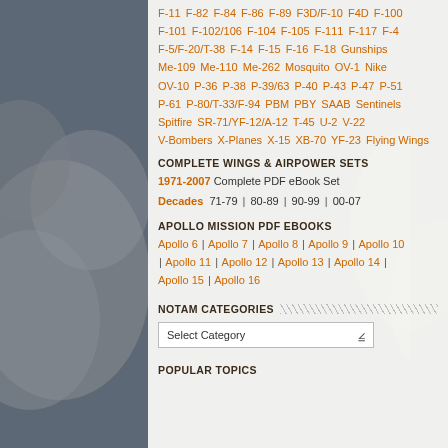F-11 F-82 F-84 F-86 F-89 F3D/F-10 F4D F-100 F-101 F-102/106 F-104 F-105 F-111 F-117 F-4 F-5/F-20/T-38 F-14 F-15 F-16 F-18 Gunships Me-109 Me-110 Me-262 Mosquito OV-1 Nike OV-10 P-36 P-38 P-39/63 P-40 P-43 P-47 P-51 P-61 P-80/T-33/F-94 PBM PBY SAAB Sentinels Spitfire SR-71/YF-12/A-12 T-45 U-2 V-22 V-Bombers X-Planes X-15 XB-70 YF-23 Flying Wings
COMPLETE WINGS & AIRPOWER SETS
1971-2007 Complete PDF eBook Set
Decades 71-79 | 80-89 | 90-99 | 00-07
APOLLO MISSION PDF eBOOKS
Apollo 6 | Apollo 7 | Apollo 8 | Apollo 9 | Apollo 10 | Apollo 11 | Apollo 12 | Apollo 13 | Apollo 14 | Apollo 15 | Apollo 16
NOTAM CATEGORIES
Select Category
POPULAR TOPICS